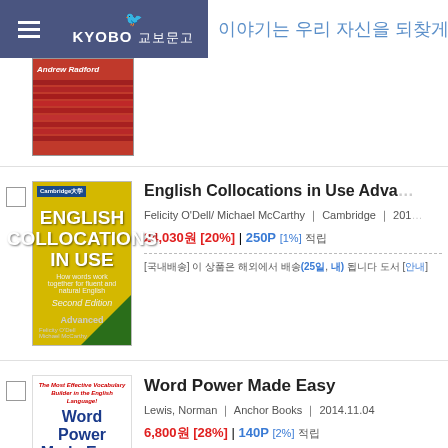[Figure (screenshot): Kyobo bookstore website header with hamburger menu, Kyobo 교보문고 logo, and Korean promotional banner text]
[Figure (photo): Partial book cover in red (Andrew Radford book), cut off at top]
[Figure (photo): English Collocations in Use Advanced book cover (yellow/green Cambridge)]
English Collocations in Use Advanced
Felicity O'Dell/ Michael McCarthy | Cambridge | 201...
24,030원 [20%] | 250P [1%] 적립
[국내배송] 이 상품은 해외에서 배송(25일, 내) 됩니다 도서 [안내]
[Figure (photo): Word Power Made Easy book cover (white with blue/red text)]
Word Power Made Easy
Lewis, Norman | Anchor Books | 2014.11.04
6,800원 [28%] | 140P [2%] 적립